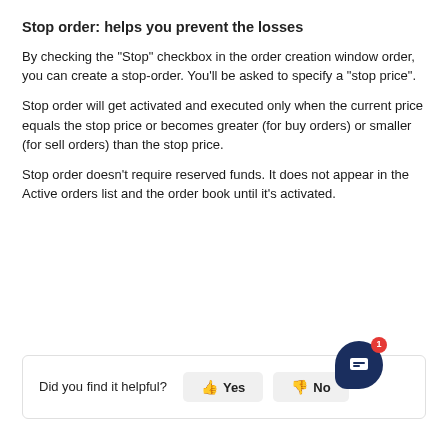Stop order: helps you prevent the losses
By checking the "Stop" checkbox in the order creation window order, you can create a stop-order. You'll be asked to specify a "stop price".
Stop order will get activated and executed only when the current price equals the stop price or becomes greater (for buy orders) or smaller (for sell orders) than the stop price.
Stop order doesn't require reserved funds. It does not appear in the Active orders list and the order book until it's activated.
Did you find it helpful?  👍 Yes  👎 No